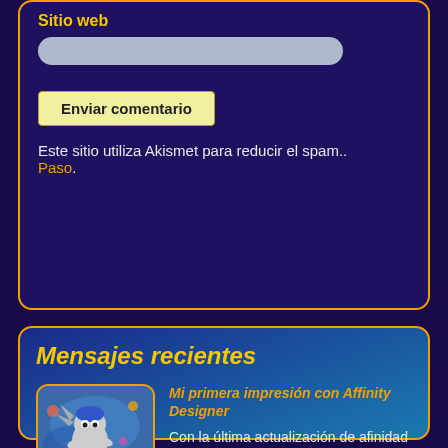Sitio web
[Figure (other): Text input field (rounded rectangle, light gray) for Correo electronico]
[Figure (other): Text input field (rounded rectangle, light gray) for Sitio web]
Enviar comentario
Este sitio utiliza Akismet para reducir el spam.. Paso.
Mensajes recientes
[Figure (illustration): Thumbnail image showing illustrated cartoon character with Sonic-like figure and colorful background]
Mi primera impresión con Affinity Designer
Con la última actualización de afinidad Desig....
Leer más